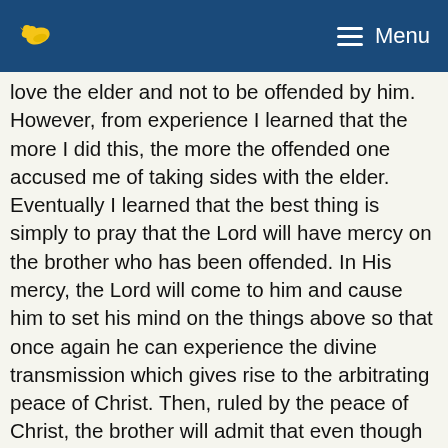Menu
love the elder and not to be offended by him. However, from experience I learned that the more I did this, the more the offended one accused me of taking sides with the elder. Eventually I learned that the best thing is simply to pray that the Lord will have mercy on the brother who has been offended. In His mercy, the Lord will come to him and cause him to set his mind on the things above so that once again he can experience the divine transmission which gives rise to the arbitrating peace of Christ. Then, ruled by the peace of Christ, the brother will admit that even though the elder might have been wrong, he himself was wrong to a greater degree. Immediately he will confess to the Lord, receive grace, and have love for that elder. Through the arbitration of the peace of Christ, our problems are solved, and the friction between the saints disappears. Then the church life is preserved, and the new man is maintained in a practical way.